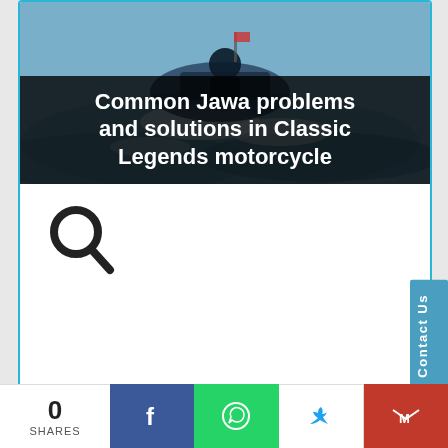[Figure (photo): Motorcyclist on a Jawa motorcycle with water/river background, with dark overlay showing article title text]
Common Jawa problems and solutions in Classic Legends motorcycle
[Figure (other): Search icon (magnifying glass) in dark color]
[Figure (other): Pagination dots, 10 dots with second one highlighted]
Contact Us
SPONSORED LINKS
0
SHARES